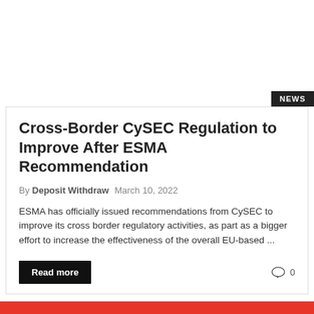NEWS
Cross-Border CySEC Regulation to Improve After ESMA Recommendation
By Deposit Withdraw   March 10, 2022
ESMA has officially issued recommendations from CySEC to improve its cross border regulatory activities, as part as a bigger effort to increase the effectiveness of the overall EU-based ...
Read more
0
RECOMMENDED FOREX BROKERS
FOREX.COM